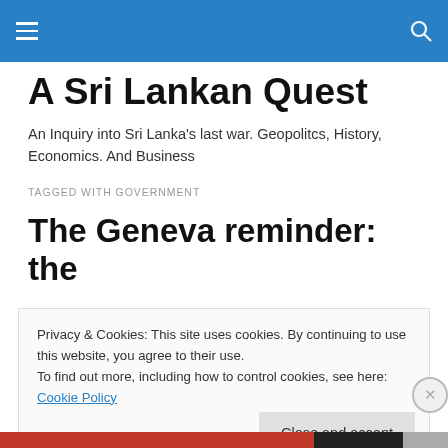A Sri Lankan Quest
A Sri Lankan Quest
An Inquiry into Sri Lanka's last war. Geopolitcs, History, Economics. And Business
TAGGED WITH GOVERNMENT
The Geneva reminder: the
Privacy & Cookies: This site uses cookies. By continuing to use this website, you agree to their use.
To find out more, including how to control cookies, see here: Cookie Policy
Close and accept